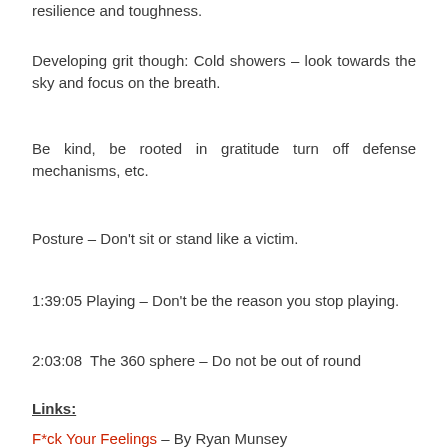resilience and toughness.
Developing grit though: Cold showers – look towards the sky and focus on the breath.
Be kind, be rooted in gratitude turn off defense mechanisms, etc.
Posture – Don't sit or stand like a victim.
1:39:05 Playing – Don't be the reason you stop playing.
2:03:08  The 360 sphere – Do not be out of round
Links:
F*ck Your Feelings – By Ryan Munsey